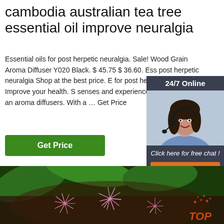cambodia australian tea tree essential oil improve neuralgia
Essential oils for post herpetic neuralgia. Sale! Wood Grain Aroma Diffuser Y020 Black. $ 45.75 $ 36.60. Ess post herpetic neuralgia Shop at the best price. E for post herpetic neuralgia Improve your health. senses and experience the benefits of an aroma diffusers. With a … Get Price
[Figure (infographic): Customer service representative widget with '24/7 Online' header, photo of woman with headset, 'Click here for free chat!' text, and orange QUOTATION button]
[Figure (photo): Close-up photo of pink fluffy flowers (tea tree) with green leaves and dark stems]
Get Price
[Figure (logo): TOP watermark logo in orange/red at bottom right of photo]